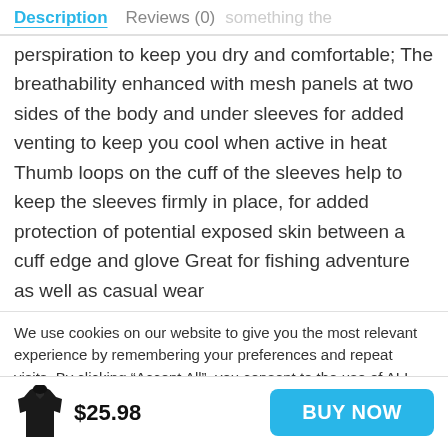Description   Reviews (0)
perspiration to keep you dry and comfortable; The breathability enhanced with mesh panels at two sides of the body and under sleeves for added venting to keep you cool when active in heat Thumb loops on the cuff of the sleeves help to keep the sleeves firmly in place, for added protection of potential exposed skin between a cuff edge and glove Great for fishing adventure as well as casual wear
We use cookies on our website to give you the most relevant experience by remembering your preferences and repeat visits. By clicking “Accept All”, you consent to the use of ALL the cookies.
$25.98
BUY NOW